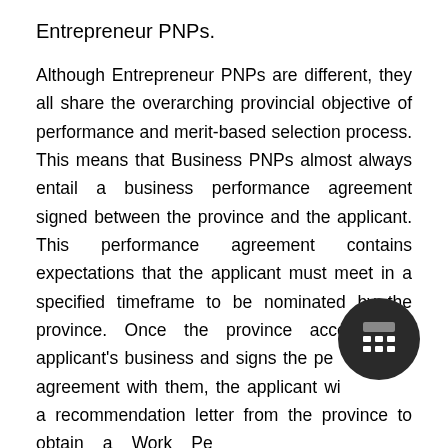Entrepreneur PNPs.
Although Entrepreneur PNPs are different, they all share the overarching provincial objective of performance and merit-based selection process. This means that Business PNPs almost always entail a business performance agreement signed between the province and the applicant. This performance agreement contains expectations that the applicant must meet in a specified timeframe to be nominated by the province. Once the province accepts the applicant's business and signs the performance agreement with them, the applicant will receive a recommendation letter from the province to obtain a Work Permit from the federal government. The